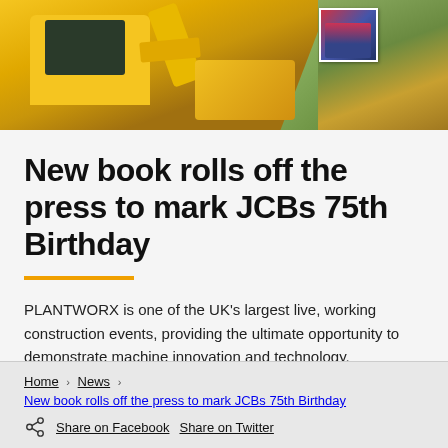[Figure (photo): Hero banner image showing yellow JCB construction machinery/excavators on a construction site with dirt and rubble, with a small inset photo of two people (a man and woman) in the upper right area. Additional construction equipment visible on the right side.]
New book rolls off the press to mark JCBs 75th Birthday
PLANTWORX is one of the UK's largest live, working construction events, providing the ultimate opportunity to demonstrate machine innovation and technology.
Home > News > New book rolls off the press to mark JCBs 75th Birthday  Share on Facebook  Share on Twitter